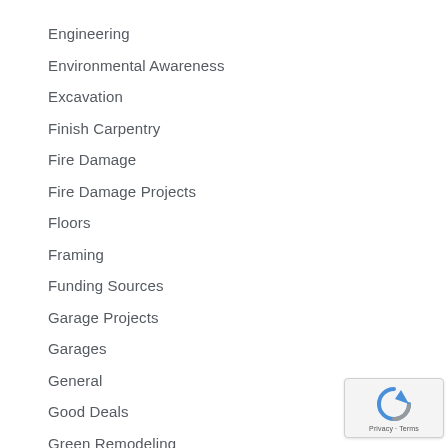Engineering
Environmental Awareness
Excavation
Finish Carpentry
Fire Damage
Fire Damage Projects
Floors
Framing
Funding Sources
Garage Projects
Garages
General
Good Deals
Green Remodeling
Historic District Homes